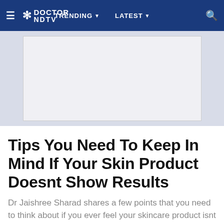≡ ✳ DOCTOR NDTV   TRENDING ▾   LATEST ▾   🔍
[Figure (other): Advertisement banner placeholder (gray box on blue-gray background)]
Tips You Need To Keep In Mind If Your Skin Product Doesnt Show Results
Dr Jaishree Sharad shares a few points that you need to think about if you ever feel your skincare product isnt working on your skin.